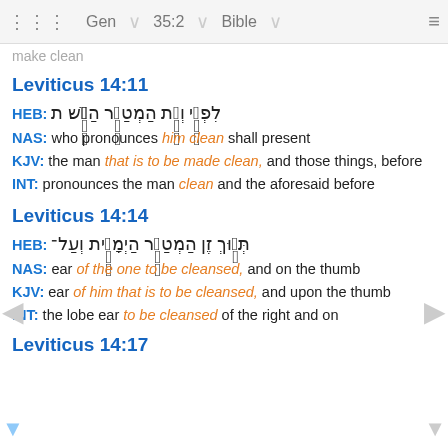Gen 35:2 Bible
make clean
Leviticus 14:11
HEB: ת הַיִּ֖שׁ הַמְטַהֵ֑ר וְאֵ֤ת לִפְנֵ֣י
NAS: who pronounces him clean shall present
KJV: the man that is to be made clean, and those things, before
INT: pronounces the man clean and the aforesaid before
Leviticus 14:14
HEB: תְּנ֤וּךְ זֶן הַמְטַהֵ֑ר הַיְמָנִ֖ית וְעַל־
NAS: ear of the one to be cleansed, and on the thumb
KJV: ear of him that is to be cleansed, and upon the thumb
INT: the lobe ear to be cleansed of the right and on
Leviticus 14:17